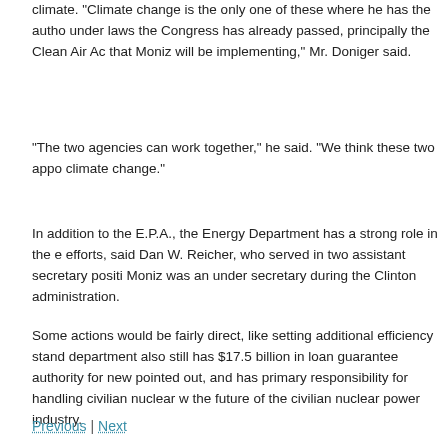climate. “Climate change is the only one of these where he has the authority under laws the Congress has already passed, principally the Clean Air Act, that Moniz will be implementing,” Mr. Doniger said.
“The two agencies can work together,” he said. “We think these two appointments are good for the fight against climate change.”
In addition to the E.P.A., the Energy Department has a strong role in the government’s climate efforts, said Dan W. Reicher, who served in two assistant secretary positions in the department. Moniz was an under secretary during the Clinton administration.
Some actions would be fairly direct, like setting additional efficiency standards for appliances. The department also still has $17.5 billion in loan guarantee authority for new energy projects, Mr. Reicher pointed out, and has primary responsibility for handling civilian nuclear waste, which will influence the future of the civilian nuclear power industry.
The Energy Department’s failure to begin accepting waste by the contractual deadline already costs billions of dollars in penalties to taxpayers. And, he said, the department also has a key role in another of Mr. Obama’s priorities: reducing nuclear weapons.
Previous | Next